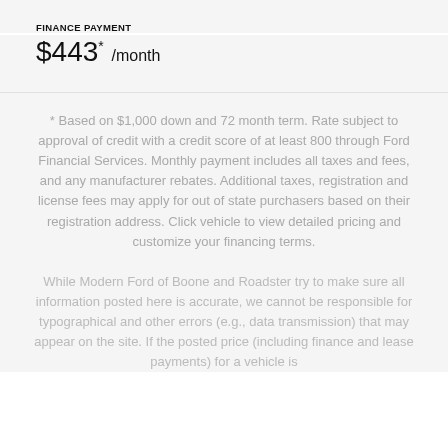FINANCE PAYMENT
$443* /month
* Based on $1,000 down and 72 month term. Rate subject to approval of credit with a credit score of at least 800 through Ford Financial Services. Monthly payment includes all taxes and fees, and any manufacturer rebates. Additional taxes, registration and license fees may apply for out of state purchasers based on their registration address. Click vehicle to view detailed pricing and customize your financing terms.
While Modern Ford of Boone and Roadster try to make sure all information posted here is accurate, we cannot be responsible for typographical and other errors (e.g., data transmission) that may appear on the site. If the posted price (including finance and lease payments) for a vehicle is